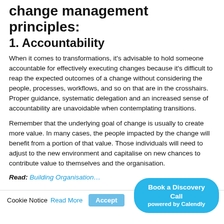change management principles:
1. Accountability
When it comes to transformations, it's advisable to hold someone accountable for effectively executing changes because it's difficult to reap the expected outcomes of a change without considering the people, processes, workflows, and so on that are in the crosshairs. Proper guidance, systematic delegation and an increased sense of accountability are unavoidable when contemplating transitions.
Remember that the underlying goal of change is usually to create more value. In many cases, the people impacted by the change will benefit from a portion of that value. Those individuals will need to adjust to the new environment and capitalise on new chances to contribute value to themselves and the organisation.
Read: Building Organisation… er
Cookie Notice   Read More   Accept   Book a Discovery Call powered by Calendly